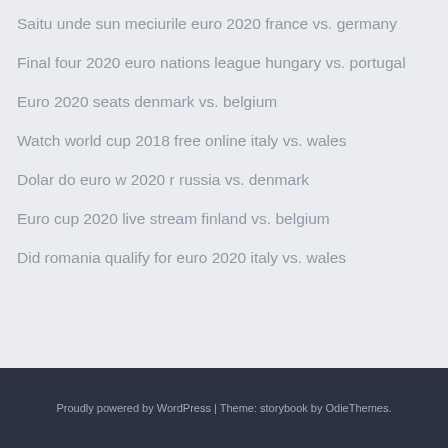Saitu unde sun meciurile euro 2020 france vs. germany
Final four 2020 euro nations league hungary vs. portugal
Euro 2020 seats denmark vs. belgium
Watch world cup 2018 free online italy vs. wales
Dolar do euro w 2020 r russia vs. denmark
Euro cup 2020 live stream finland vs. belgium
Did romania qualify for euro 2020 italy vs. wales
Proudly powered by WordPress | Theme: storybook by OdieThemes.